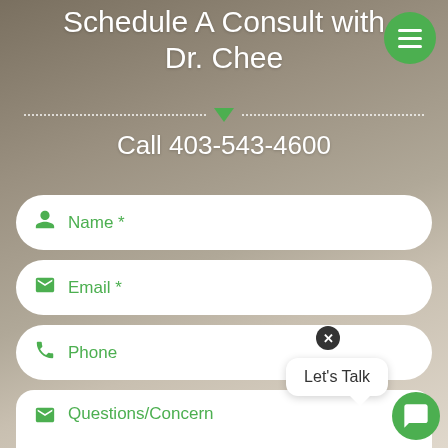Schedule A Consult with Dr. Chee
Call 403-543-4600
Name *
Email *
Phone
Questions/Concern
Let's Talk